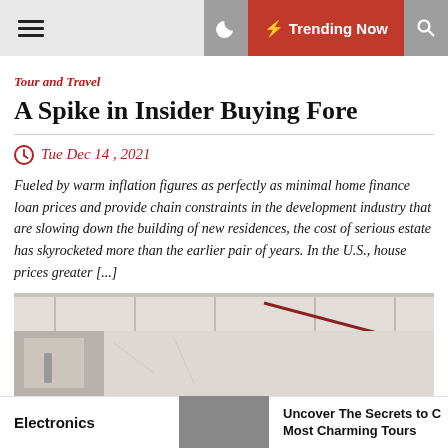☰  🌙  ⚡ Trending Now  🔍
Tour and Travel
A Spike in Insider Buying Fore
Tue Dec 14 , 2021
Fueled by warm inflation figures as perfectly as minimal home finance loan prices and provide chain constraints in the development industry that are slowing down the building of new residences, the cost of serious estate has skyrocketed more than the earlier pair of years. In the U.S., house prices greater [...]
[Figure (photo): Interior construction/renovation photo showing ceiling and walls under construction]
Electronics
Uncover The Secrets to C Most Charming Tours